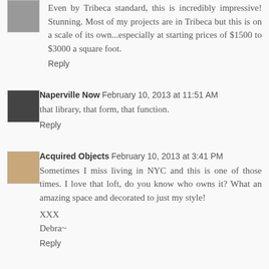[Figure (photo): Small avatar image, top-left corner, partially visible]
Even by Tribeca standard, this is incredibly impressive! Stunning. Most of my projects are in Tribeca but this is on a scale of its own...especially at starting prices of $1500 to $3000 a square foot.
Reply
[Figure (photo): Small avatar image showing a typewriter]
Naperville Now  February 10, 2013 at 11:51 AM
that library, that form, that function.
Reply
[Figure (photo): Small avatar image showing an object/texture]
Acquired Objects  February 10, 2013 at 3:41 PM
Sometimes I miss living in NYC and this is one of those times. I love that loft, do you know who owns it? What an amazing space and decorated to just my style!

XXX
Debra~
Reply